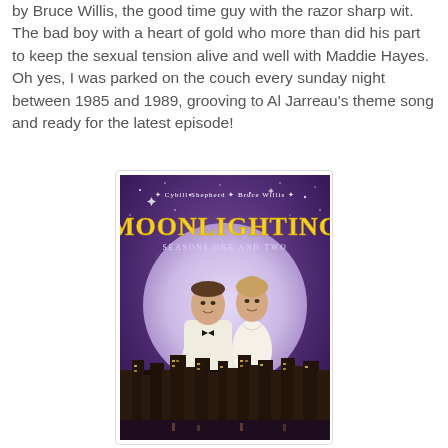by Bruce Willis, the good time guy with the razor sharp wit. The bad boy with a heart of gold who more than did his part to keep the sexual tension alive and well with Maddie Hayes. Oh yes, I was parked on the couch every sunday night between 1985 and 1989, grooving to Al Jarreau's theme song and ready for the latest episode!
[Figure (illustration): Moonlighting DVD cover — Seasons One and Two. Shows Cybill Shepherd and Bruce Willis standing in front of a large moon with a city skyline below, against a purple starry night sky. Text at top: 'Cybill Shepherd * Bruce Willis'. Large yellow title text: 'MOONLIGHTING'. Subtitle: 'Seasons One and Two'.]